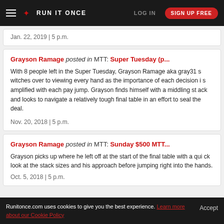RUN IT ONCE | LOG IN | SIGN UP FREE
Jan. 22, 2019 | 5 p.m.
Grayson Ramage posted in MTT: Super Tuesday (p...
With 8 people left in the Super Tuesday, Grayson Ramage aka gray31 switches over to viewing every hand as the importance of each decision is amplified with each pay jump. Grayson finds himself with a middling stack and looks to navigate a relatively tough final table in an effort to seal the deal.
Nov. 20, 2018 | 5 p.m.
Grayson Ramage posted in MTT: Sunday $500 MTT...
Grayson picks up where he left off at the start of the final table with a quick look at the stack sizes and his approach before jumping right into the hands.
Oct. 5, 2018 | 5 p.m.
Runitonce.com uses cookies to give you the best experience. Learn more about our Cookie Policy  Accept